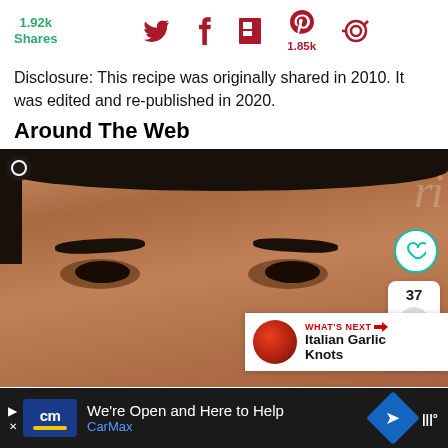1.92k Shares | Social share icons: Twitter, Facebook, Flipboard, Pinterest (1.85k), circle icon
Disclosure: This recipe was originally shared in 2010. It was edited and re-published in 2020.
Around The Web
[Figure (photo): Close-up photo of a man's face, dark hair, with social UI overlays: heart button, share count badge showing 37, and a 'What's Next: Italian Garlic Knots' recommendation widget]
[Figure (infographic): Dark ad bar at bottom: CarMax advertisement saying 'We're Open and Here to Help' with CarMax logo, navigation arrow icon, and weather widget]